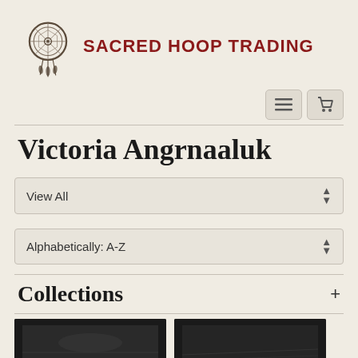[Figure (logo): Sacred Hoop Trading logo — dreamcatcher circle with feathers]
SACRED HOOP TRADING
[Figure (screenshot): Navigation buttons: hamburger menu icon and shopping cart icon]
Victoria Angrnaaluk
View All
Alphabetically: A-Z
Collections
[Figure (photo): Two thumbnail images of artwork, shown partially at bottom of page]